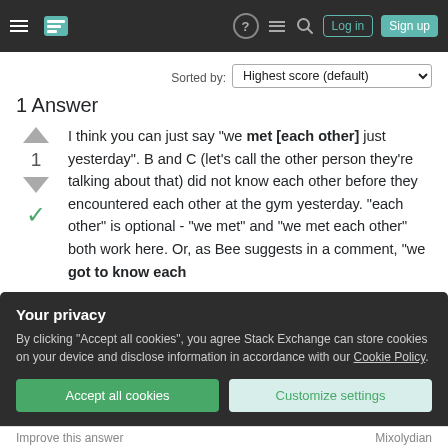Stack Exchange navigation bar with hamburger, logo, help, chat, search, Log in, Sign up
Sorted by:
1 Answer
I think you can just say "we met [each other] just yesterday". B and C (let's call the other person they're talking about that) did not know each other before they encountered each other at the gym yesterday. "each other" is optional - "we met" and "we met each other" both work here. Or, as Bee suggests in a comment, "we got to know each
Your privacy

By clicking "Accept all cookies", you agree Stack Exchange can store cookies on your device and disclose information in accordance with our Cookie Policy.

Accept all cookies   Customize settings
Improve this answer   Mixolydian